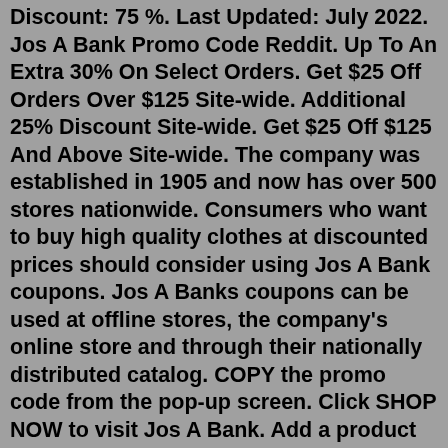Discount: 75 %. Last Updated: July 2022. Jos A Bank Promo Code Reddit. Up To An Extra 30% On Select Orders. Get $25 Off Orders Over $125 Site-wide. Additional 25% Discount Site-wide. Get $25 Off $125 And Above Site-wide. The company was established in 1905 and now has over 500 stores nationwide. Consumers who want to buy high quality clothes at discounted prices should consider using Jos A Bank coupons. Jos A Banks coupons can be used at offline stores, the company's online store and through their nationally distributed catalog. COPY the promo code from the pop-up screen. Click SHOP NOW to visit Jos A Bank. Add a product that qualifies for the promo code to your cart. During checkout, paste the promo code in the PROMO CODE box, then click APPLY. Your Jos A Bank discount will now be applied. Click ACTIVATE for the Jos A Bank offer you want to redeem.Other Ways to Save at Jos. A. Bank: Check our Jos. A. Bank coupon page - Visit the BrokeScholar Jos. A. Bank coupon codes page for up to date coupons and sales. Currently we have 316